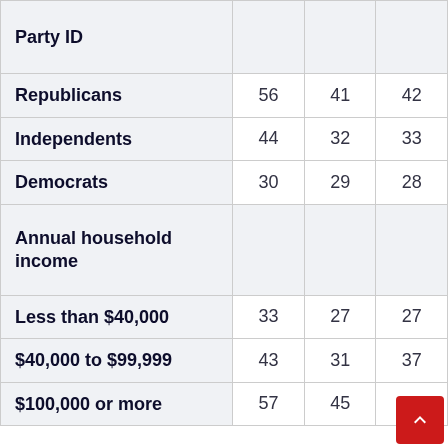|  |  |  |  |
| --- | --- | --- | --- |
| Party ID |  |  |  |
| Republicans | 56 | 41 | 42 |
| Independents | 44 | 32 | 33 |
| Democrats | 30 | 29 | 28 |
| Annual household income |  |  |  |
| Less than $40,000 | 33 | 27 | 27 |
| $40,000 to $99,999 | 43 | 31 | 37 |
| $100,000 or more | 57 | 45 | 41 |